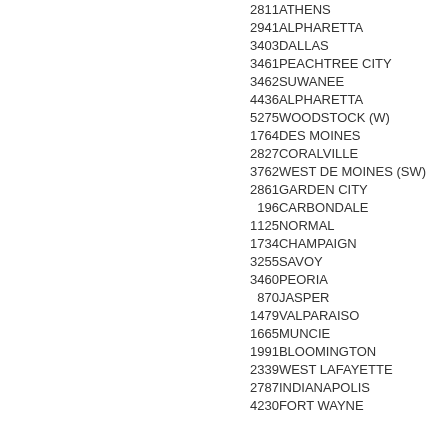| ID+City | State Code |
| --- | --- |
| 2811ATHENS | G |
| 2941ALPHARETTA | G |
| 3403DALLAS | G |
| 3461PEACHTREE CITY | G |
| 3462SUWANEE | G |
| 4436ALPHARETTA | G |
| 5275WOODSTOCK (W) | G |
| 1764DES MOINES | I |
| 2827CORALVILLE | I |
| 3762WEST DE MOINES (SW) | I |
| 2861GARDEN CITY | I |
| 196CARBONDALE | I |
| 1125NORMAL | I |
| 1734CHAMPAIGN | I |
| 3255SAVOY | I |
| 3460PEORIA | I |
| 870JASPER | I |
| 1479VALPARAISO | I |
| 1665MUNCIE | I |
| 1991BLOOMINGTON | I |
| 2339WEST LAFAYETTE | I |
| 2787INDIANAPOLIS | I |
| 4230FORT WAYNE | I |